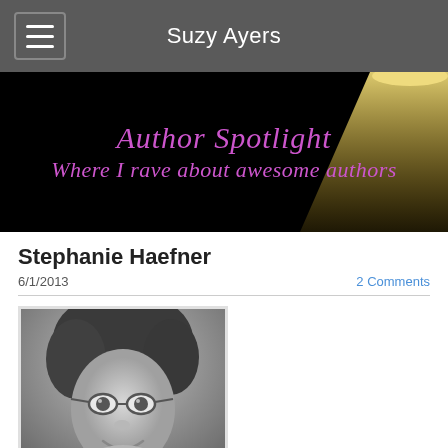Suzy Ayers
[Figure (illustration): Author Spotlight banner with purple decorative text 'Author Spotlight / Where I rave about awesome authors' on black background with a spotlight beam effect]
Stephanie Haefner
6/1/2013
2 Comments
[Figure (photo): Black and white headshot photo of Stephanie Haefner, a woman with glasses and curly hair, smiling]